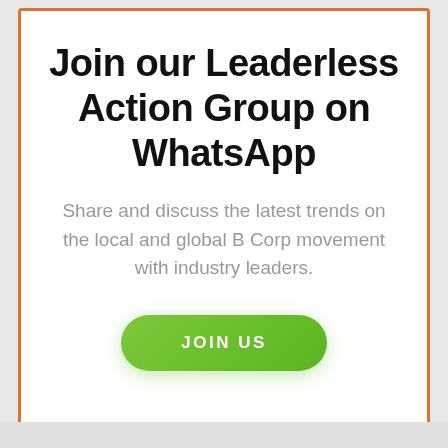Join our Leaderless Action Group on WhatsApp
Share and discuss the latest trends on the local and global B Corp movement with industry leaders.
JOIN US